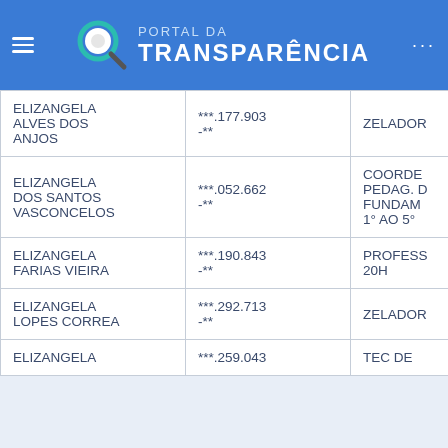PORTAL DA TRANSPARÊNCIA
| Nome | CPF | Cargo |
| --- | --- | --- |
| ELIZANGELA ALVES DOS ANJOS | ***.177.903-** | ZELADOR |
| ELIZANGELA DOS SANTOS VASCONCELOS | ***.052.662-** | COORDE PEDAG. D FUNDAM 1° AO 5° |
| ELIZANGELA FARIAS VIEIRA | ***.190.843-** | PROFESS 20H |
| ELIZANGELA LOPES CORREA | ***.292.713-** | ZELADOR |
| ELIZANGELA | ***.259.043-** | TEC DE |